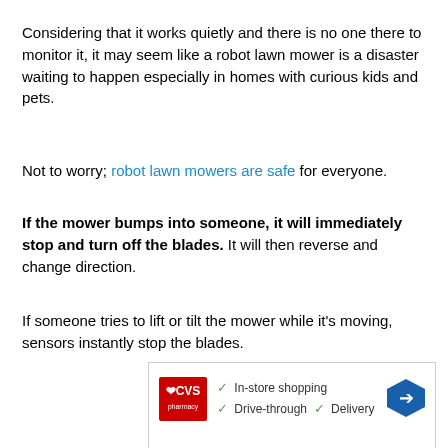Considering that it works quietly and there is no one there to monitor it, it may seem like a robot lawn mower is a disaster waiting to happen especially in homes with curious kids and pets.
Not to worry; robot lawn mowers are safe for everyone.
If the mower bumps into someone, it will immediately stop and turn off the blades. It will then reverse and change direction.
If someone tries to lift or tilt the mower while it's moving, sensors instantly stop the blades.
[Figure (other): CVS Pharmacy advertisement showing In-store shopping, Drive-through, and Delivery options with a navigation arrow icon]